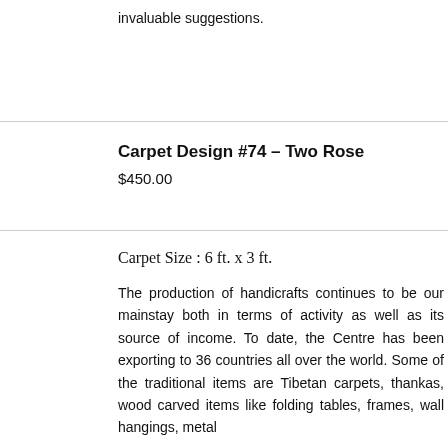invaluable suggestions.
Carpet Design #74 – Two Rose
$450.00
Carpet Size : 6 ft. x 3 ft.
The production of handicrafts continues to be our mainstay both in terms of activity as well as its source of income. To date, the Centre has been exporting to 36 countries all over the world. Some of the traditional items are Tibetan carpets, thankas, wood carved items like folding tables, frames, wall hangings, metal